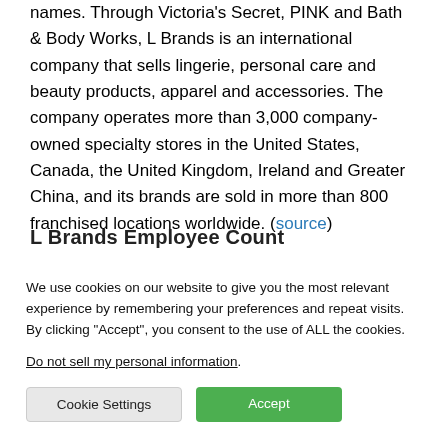names. Through Victoria's Secret, PINK and Bath & Body Works, L Brands is an international company that sells lingerie, personal care and beauty products, apparel and accessories. The company operates more than 3,000 company-owned specialty stores in the United States, Canada, the United Kingdom, Ireland and Greater China, and its brands are sold in more than 800 franchised locations worldwide. (source)
L Brands Employee Count
We use cookies on our website to give you the most relevant experience by remembering your preferences and repeat visits. By clicking "Accept", you consent to the use of ALL the cookies.
Do not sell my personal information.